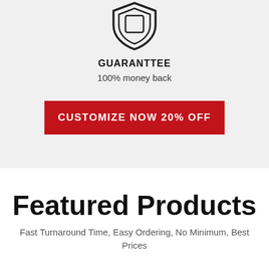[Figure (illustration): Shield icon with a checkmark or badge outline, line art style, dark outline on light gray background]
GUARANTTEE
100% money back
CUSTOMIZE NOW 20% OFF
Featured Products
Fast Turnaround Time, Easy Ordering, No Minimum, Best Prices